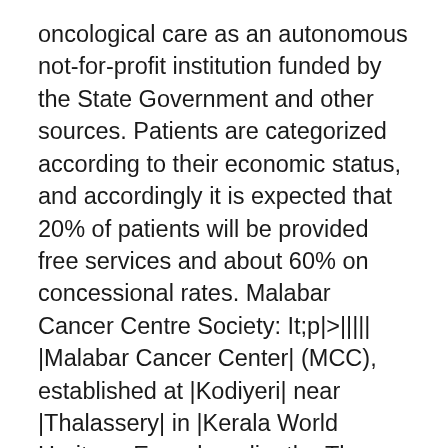oncological care as an autonomous not-for-profit institution funded by the State Government and other sources. Patients are categorized according to their economic status, and accordingly it is expected that 20% of patients will be provided free services and about 60% on concessional rates. Malabar Cancer Centre Society: It;p|>||||| |Malabar Cancer Center| (MCC), established at |Kodiyeri| near |Thalassery| in |Kerala World Heritage Encyclopedia, the The institution is located at Kodiyeri, Thalassery of Kannur District and was established in 2001 and the clinical services were started in the same year. At present MCC has 220 in-patient bed strength and the Institute caters to patients from 7 Districts of Northern Kerala in addition to the neighboring states of Tamil Nadu, Karnataka and Maha (a total population of over 1.5